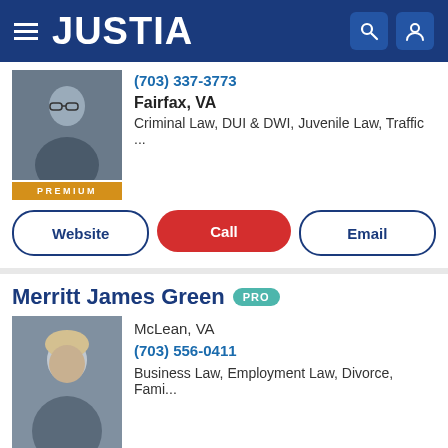[Figure (screenshot): Justia website header bar with hamburger menu, JUSTIA logo, search icon, and user icon on dark navy blue background]
(703) 337-3773
Fairfax, VA
Criminal Law, DUI & DWI, Juvenile Law, Traffic ...
Website  Call  Email
Merritt James Green
McLean, VA
(703) 556-0411
Business Law, Employment Law, Divorce, Fami...
Website  Call  Email
Justia Ask a Lawyer is a forum for consumers to get answers to